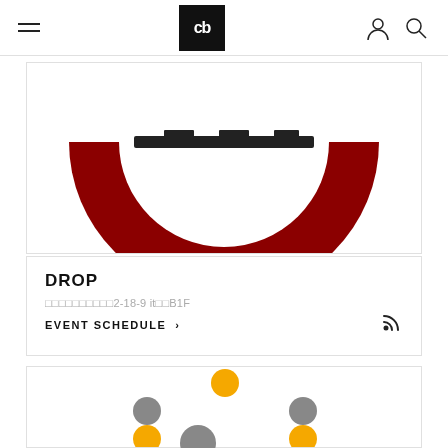cb — menu, user, search icons
[Figure (photo): Partial view of a dark red circular arch/ring logo against white background, cropped at top]
DROP
渋谷区渋谷2-18-9 it渋B1F
EVENT SCHEDULE >
[Figure (illustration): Pattern of colored dots: one orange dot top center, two gray dots middle row, two orange dots lower row, one gray dot bottom center — forming a triangular/dice-like arrangement on white background]